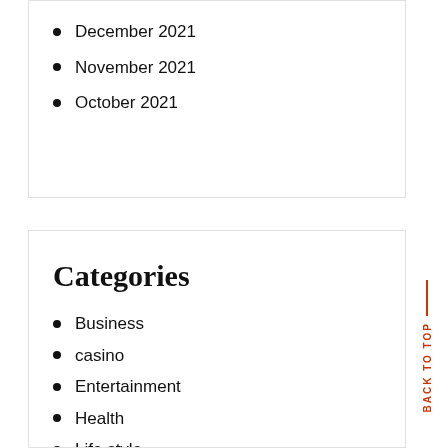December 2021
November 2021
October 2021
Categories
Business
casino
Entertainment
Health
Life style
news
novel
OTHER
Sports and Recreation